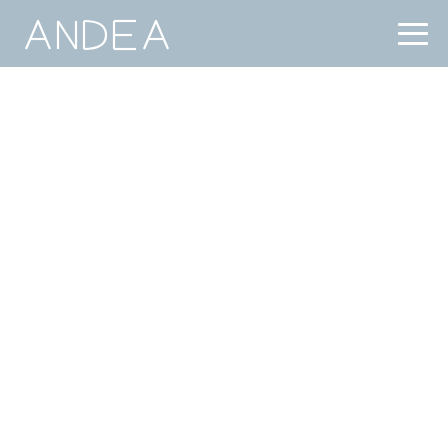ANDEA
[Figure (logo): ANDEA logo in white text on steel blue/grey header background, with hamburger menu icon on the right]